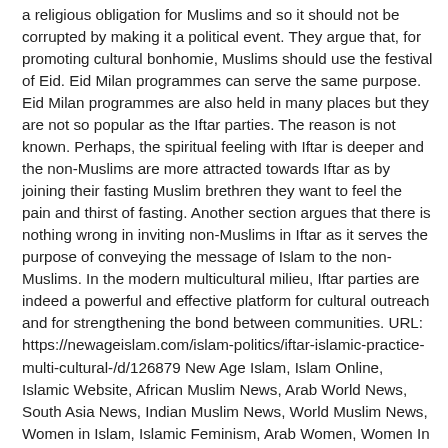a religious obligation for Muslims and so it should not be corrupted by making it a political event. They argue that, for promoting cultural bonhomie, Muslims should use the festival of Eid. Eid Milan programmes can serve the same purpose. Eid Milan programmes are also held in many places but they are not so popular as the Iftar parties. The reason is not known. Perhaps, the spiritual feeling with Iftar is deeper and the non-Muslims are more attracted towards Iftar as by joining their fasting Muslim brethren they want to feel the pain and thirst of fasting. Another section argues that there is nothing wrong in inviting non-Muslims in Iftar as it serves the purpose of conveying the message of Islam to the non-Muslims. In the modern multicultural milieu, Iftar parties are indeed a powerful and effective platform for cultural outreach and for strengthening the bond between communities. URL: https://newageislam.com/islam-politics/iftar-islamic-practice-multi-cultural-/d/126879 New Age Islam, Islam Online, Islamic Website, African Muslim News, Arab World News, South Asia News, Indian Muslim News, World Muslim News, Women in Islam, Islamic Feminism, Arab Women, Women In Arab, Islamophobia in America, Muslim Women in West, Islam Women and Feminism